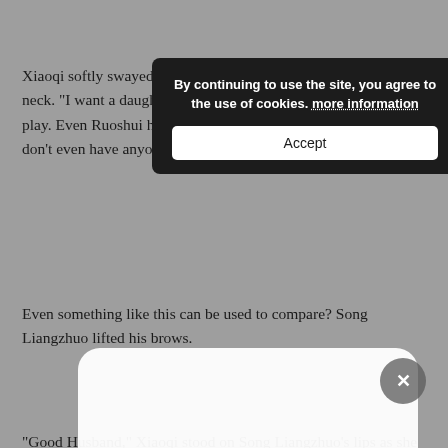Xiaoqi softly swayed while clinging onto Song Liangzhuo’s neck. “I want a daughter. I want to wear beautiful clothes and play. Even Ruoshui has a daughter. I want a little daughter. I don’t even have anyone to play with.”
[Figure (screenshot): Cookie consent banner overlay with dark background reading 'By continuing to use the site, you agree to the use of cookies. more information' and an 'Accept' button]
Even something like this can be used to compare? Song Liangzhuo lifted his brows.
[Figure (screenshot): Modal dialog overlay on white rounded rectangle reading 'Click OK to Continue' with blue 'OK' button]
“Good Husband,” Xiaoqi stood on Song Liangzhuo’s lips as she pouted. “Good Husband, give me a girl baby, alright? I’m so pitiful ah. Xiaoqi is so pitiful. There’s four men in the house, with the only girls being Mother-in-Law Mom and I.”
It’s not like this is something he can give just because she wants it. If it was possible, she probably would have gotten pregnant long ago.
“Husband!” Xiaoqi sucked Song Liangzhuo’s lips and chomped it, discontent.
[Figure (screenshot): Close/dismiss button as a grey circle with X in bottom right corner]